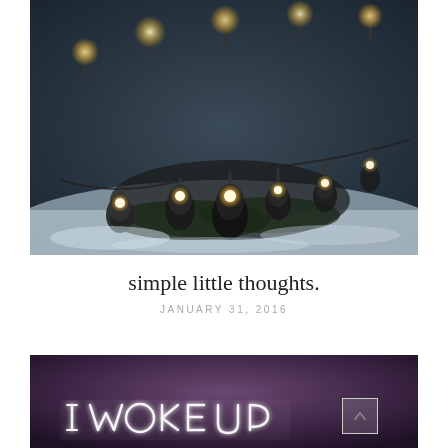[Figure (photo): Close-up photograph of large vintage-style Edison bulbs and string lights arranged in a row on snowy ground with evergreen branches, photographed in dim winter light. Warm glowing filaments visible inside clear glass bulbs against dark background.]
simple little thoughts.
JANUARY 31, 2016
[Figure (photo): Photograph with deep purple/mauve background showing neon light lettering that reads 'I WOKE UP' in glowing cursive/handwriting style white neon light. A small white square button with an upward chevron arrow is visible in the lower right area.]